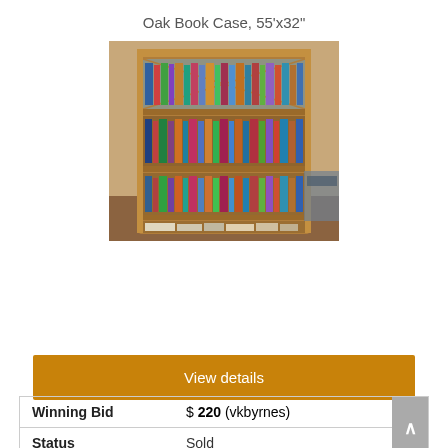Oak Book Case, 55'x32"
[Figure (photo): Photo of an oak barrister bookcase with four sections filled with books. The case has glass-fronted doors on the top two sections and open shelves on the bottom two. Books of various colors and sizes are arranged on all shelves.]
View details
| Winning Bid | $ 220 (vkbyrnes) |
| Status | Sold |